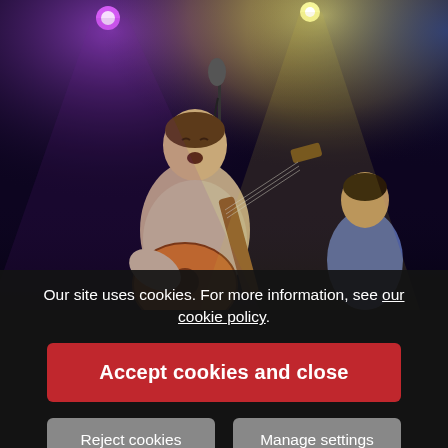[Figure (photo): Concert photo of a male singer playing an acoustic guitar on stage under purple and yellow spotlights, with another musician visible in the background.]
Our site uses cookies. For more information, see our cookie policy.
Accept cookies and close
Reject cookies
Manage settings